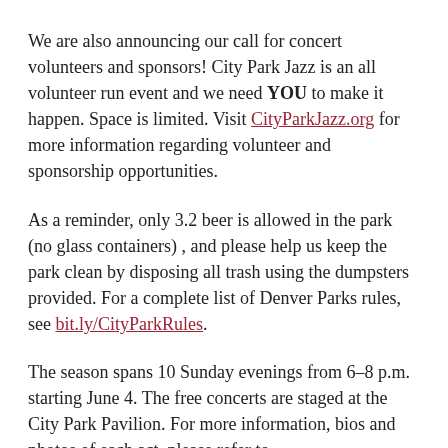We are also announcing our call for concert volunteers and sponsors! City Park Jazz is an all volunteer run event and we need YOU to make it happen. Space is limited. Visit CityParkJazz.org for more information regarding volunteer and sponsorship opportunities.
As a reminder, only 3.2 beer is allowed in the park (no glass containers) , and please help us keep the park clean by disposing all trash using the dumpsters provided. For a complete list of Denver Parks rules, see bit.ly/CityParkRules.
The season spans 10 Sunday evenings from 6–8 p.m. starting June 4. The free concerts are staged at the City Park Pavilion. For more information, bios and photos of each act, please refer to CityParkJazz.org/calendar.